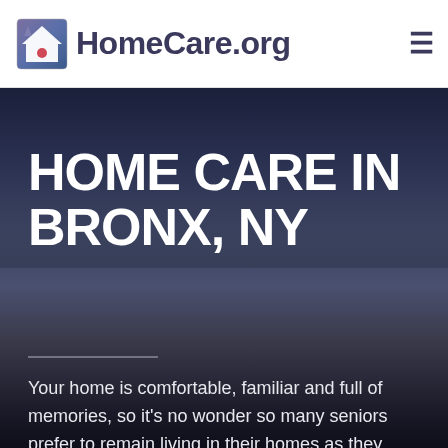HomeCare.org
HOME CARE IN BRONX, NY
Your home is comfortable, familiar and full of memories, so it's no wonder so many seniors prefer to remain living in their homes as they age. Seniors often need some support to help them stay safe and independent, and the Bronx has